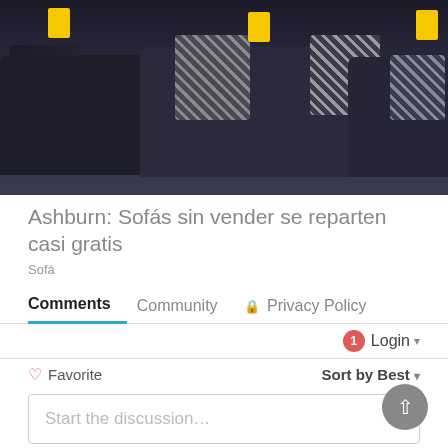[Figure (photo): Photo of dark navy/charcoal sofas with patterned cushions and yellow price tags in a furniture showroom]
Ashburn: Sofás sin vender se reparten casi gratis
Sofá
Comments   Community   🔒 Privacy Policy
🔔 1   Login ▾
♡ Favorite   Sort by Best ▾
Start the discussion…
LOG IN WITH
[Figure (logo): Social login icons: Disqus (D), Facebook (f), Twitter bird, Google (G)]
OR SIGN UP WITH DISQUS ?